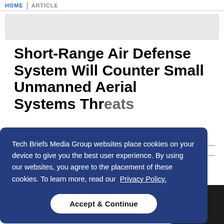HOME | ARTICLE
[Figure (other): Gray advertisement banner placeholder]
Short-Range Air Defense System Will Counter Small Unmanned Aerial Systems Threats
Tech Briefs Media Group websites place cookies on your device to give you the best user experience. By using our websites, you agree to the placement of these cookies. To learn more, read our Privacy Policy.
Accept & Continue